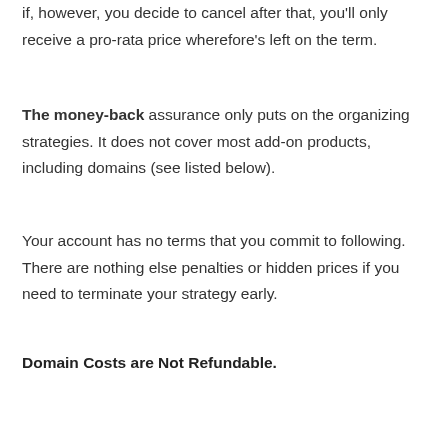if, however, you decide to cancel after that, you'll only receive a pro-rata price wherefore's left on the term.
The money-back assurance only puts on the organizing strategies. It does not cover most add-on products, including domains (see listed below).
Your account has no terms that you commit to following. There are nothing else penalties or hidden prices if you need to terminate your strategy early.
Domain Costs are Not Refundable.
You may get a complimentary domain name with your hosting. If you cancel the holding, you'll be billed for it. However you will still possess the domain and also have the ability to perform with it as you please. After the obligatory lockdown period, you can move it. It stays yours as long as you maintain renewing it.